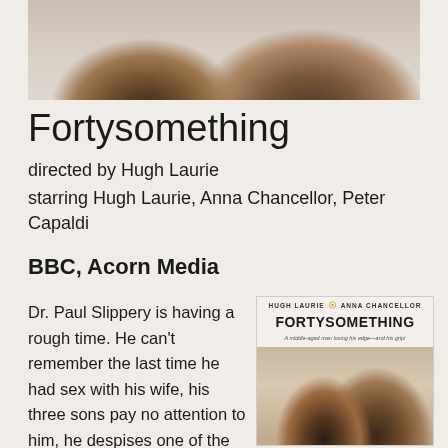[Figure (photo): Two people photographed from below chin level, showing faces close together, black and white or muted tones]
Fortysomething
directed by Hugh Laurie
starring Hugh Laurie, Anna Chancellor, Peter Capaldi
BBC, Acorn Media
Dr. Paul Slippery is having a rough time. He can't remember the last time he had sex with his wife, his three sons pay no attention to him, he despises one of the doctors in his practice, and he thinks he can hear people's thoughts. Trust Hugh Laurie to take some of
[Figure (photo): DVD cover of Fortysomething featuring Hugh Laurie and Anna Chancellor embracing, with title text at top]